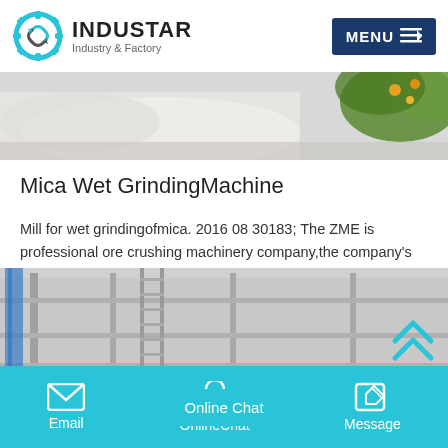INDUSTAR Industry & Factory
[Figure (photo): Top banner photo showing industrial machinery or outdoor scene with white and green elements]
Mica Wet GrindingMachine
Mill for wet grindingofmica. 2016 08 30183; The ZME is professional ore crushing machinery company,the company's crushers machine for sale main stone crusher,grinding mill,sand makingwet MillMuller ForGrindingOfMica, Process…
[Figure (photo): Bottom photo showing industrial warehouse or factory interior with scaffolding and metal structure, with teal double-chevron up arrow icon overlay]
Email  OnlineChat  Message